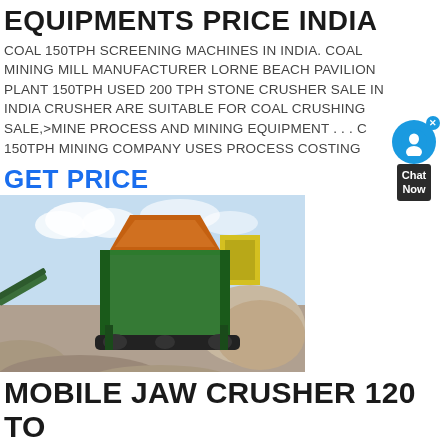EQUIPMENTS PRICE INDIA
COAL 150TPH SCREENING MACHINES IN INDIA. COAL MINING MILL MANUFACTURER LORNE BEACH PAVILION PLANT 150TPH USED 200 TPH STONE CRUSHER SALE IN INDIA CRUSHER ARE SUITABLE FOR COAL CRUSHING SALE,>MINE PROCESS AND MINING EQUIPMENT . . . C 150TPH MINING COMPANY USES PROCESS COSTING
GET PRICE
[Figure (photo): Mobile jaw crusher / stone crushing equipment on a mining site, showing a large green crushing machine with conveyor belts, set against an overcast sky with stone/sand piles in the foreground]
MOBILE JAW CRUSHER 120 TO